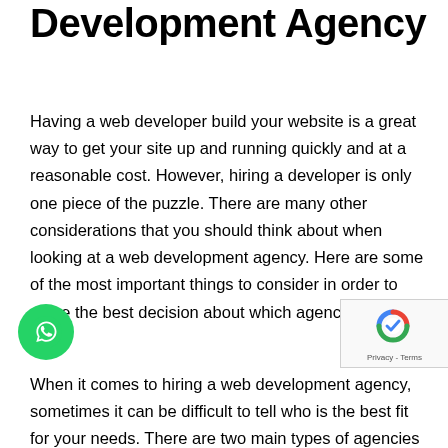Development Agency
Having a web developer build your website is a great way to get your site up and running quickly and at a reasonable cost. However, hiring a developer is only one piece of the puzzle. There are many other considerations that you should think about when looking at a web development agency. Here are some of the most important things to consider in order to make the best decision about which agency to work with.
When it comes to hiring a web development agency, sometimes it can be difficult to tell who is the best fit for your needs. There are two main types of agencies out there: full-time freelancers and full-time
[Figure (other): WhatsApp floating button (green circle with WhatsApp icon)]
[Figure (other): Google reCAPTCHA badge with logo and Privacy - Terms text]